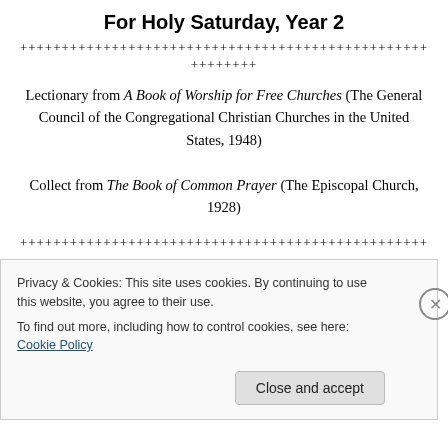For Holy Saturday, Year 2
++++++++++++++++++++++++++++++++++++++++++++++++++
++++++++
Lectionary from A Book of Worship for Free Churches (The General Council of the Congregational Christian Churches in the United States, 1948)

Collect from The Book of Common Prayer (The Episcopal Church, 1928)
++++++++++++++++++++++++++++++++++++++++++++++++++
Privacy & Cookies: This site uses cookies. By continuing to use this website, you agree to their use.
To find out more, including how to control cookies, see here: Cookie Policy

Close and accept